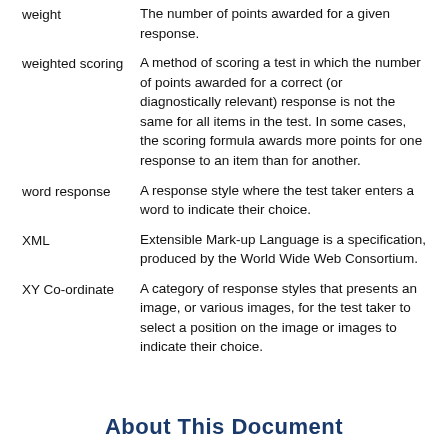weight — The number of points awarded for a given response.
weighted scoring — A method of scoring a test in which the number of points awarded for a correct (or diagnostically relevant) response is not the same for all items in the test. In some cases, the scoring formula awards more points for one response to an item than for another.
word response — A response style where the test taker enters a word to indicate their choice.
XML — Extensible Mark-up Language is a specification, produced by the World Wide Web Consortium.
XY Co-ordinate — A category of response styles that presents an image, or various images, for the test taker to select a position on the image or images to indicate their choice.
About This Document